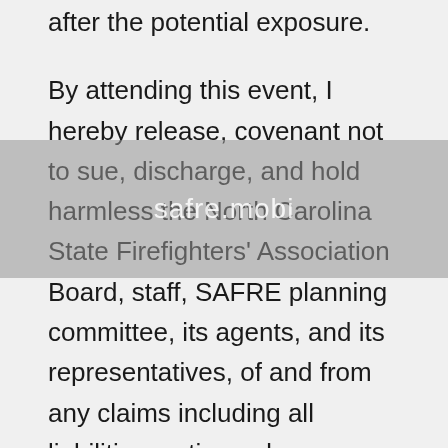after the potential exposure. By attending this event, I hereby release, covenant not to sue, discharge, and hold harmless the North Carolina State Firefighters' Association Board, staff, SAFRE planning committee, its agents, and its representatives, of and from any claims including all liabilities, actions, damages, costs or expenses of any kind arising out of or relating to my voluntary attendance at SAFRE 2021 and the NCSFA Annual Meeting. I understand and agree that this release includes any Claims based on the actions, omissions, or negligence of the